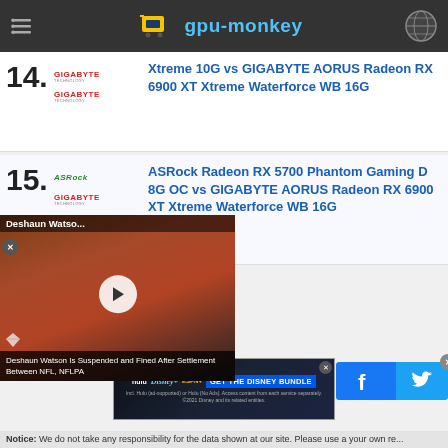gpu-monkey
14. Xtreme 10G vs GIGABYTE AORUS Radeon RX 6900 XT Xtreme Waterforce WB 16G
15. ASRock Radeon RX 5700 Phantom Gaming D 8G OC vs GIGABYTE AORUS Radeon RX 6900 XT Xtreme Waterforce WB 16G
[Figure (screenshot): Video overlay: Deshaun Watson Is Suspended and Fined After Settlement Between NFL, NFLPA]
[Figure (screenshot): Disney Bundle advertisement banner with Hulu, Disney+, ESPN+]
Notice: We do not take any responsibility for the data shown at our site. Please use a your own re...